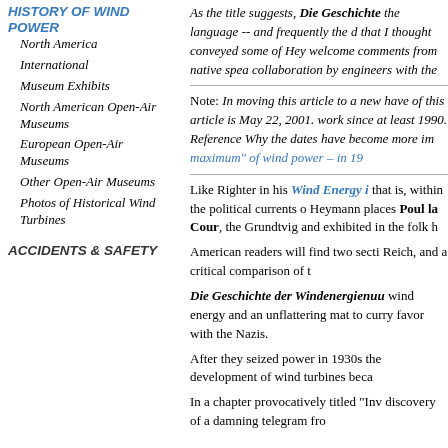HISTORY OF WIND POWER
North America
International
Museum Exhibits
North American Open-Air Museums
European Open-Air Museums
Other Open-Air Museums
Photos of Historical Wind Turbines
ACCIDENTS & SAFETY
As the title suggests, Die Geschichte the language -- and frequently the d that I thought conveyed some of Hey welcome comments from native spea collaboration by engineers with the
Note: In moving this article to a new have of this article is May 22, 2001. work since at least 1990. Reference Why the dates have become more im maximum" of wind power – in 19
Like Righter in his Wind Energy i that is, within the political currents o Heymann places Poul la Cour, the Grundtvig and exhibited in the folk h
American readers will find two secti Reich, and a critical comparison of t
Die Geschichte der Windenergienuu wind energy and an unflattering mat to curry favor with the Nazis.
After they seized power in 1930s the development of wind turbines beca
In a chapter provocatively titled "Inv discovery of a damning telegram fro